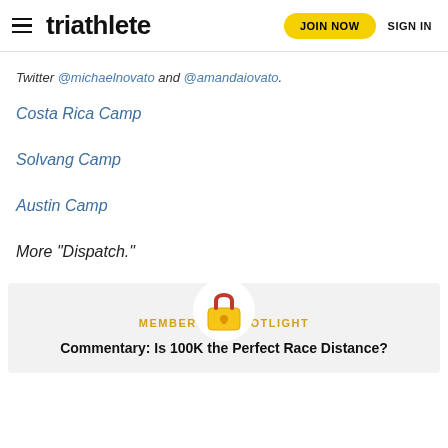triathlete — JOIN NOW   SIGN IN
Twitter @michaelnovato and @amandaiovato.
Costa Rica Camp
Solvang Camp
Austin Camp
More “Dispatch.”
[Figure (illustration): Lock icon above membership spotlight section]
MEMBERSHIP SPOTLIGHT
Commentary: Is 100K the Perfect Race Distance?